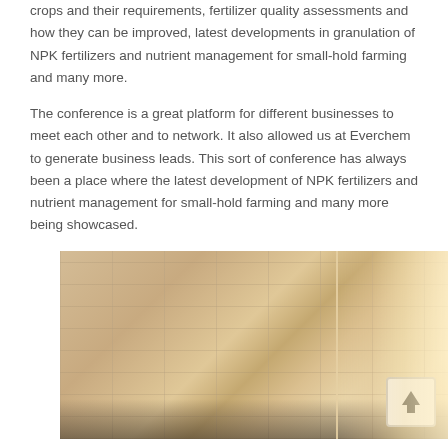crops and their requirements, fertilizer quality assessments and how they can be improved, latest developments in granulation of NPK fertilizers and nutrient management for small-hold farming and many more.
The conference is a great platform for different businesses to meet each other and to network. It also allowed us at Everchem to generate business leads. This sort of conference has always been a place where the latest development of NPK fertilizers and nutrient management for small-hold farming and many more being showcased.
[Figure (photo): A conference room photo showing a wood-paneled partition wall with horizontal striped pattern on the left, and an ornate arch/doorway with warm lighting on the right side. People are partially visible at the bottom of the image.]